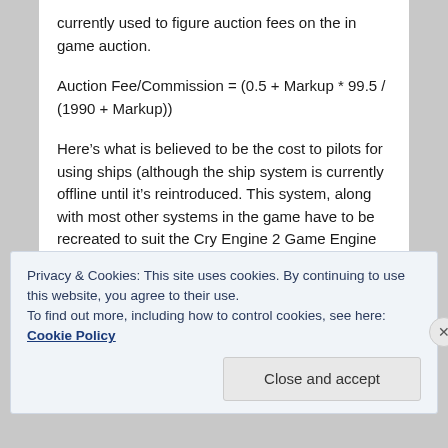currently used to figure auction fees on the in game auction.
Here’s what is believed to be the cost to pilots for using ships (although the ship system is currently offline until it’s reintroduced. This system, along with most other systems in the game have to be recreated to suit the Cry Engine 2 Game Engine that was added to EU in Version Update 10.0)
Privacy & Cookies: This site uses cookies. By continuing to use this website, you agree to their use.
To find out more, including how to control cookies, see here: Cookie Policy
Close and accept